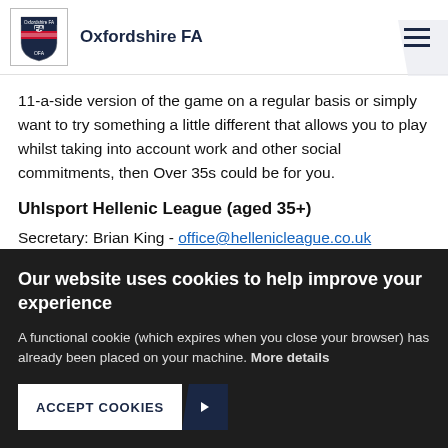Oxfordshire FA
11-a-side version of the game on a regular basis or simply want to try something a little different that allows you to play whilst taking into account work and other social commitments, then Over 35s could be for you.
Uhlsport Hellenic League (aged 35+)
Secretary: Brian King - office@hellenicleague.co.uk
Our website uses cookies to help improve your experience
A functional cookie (which expires when you close your browser) has already been placed on your machine. More details
ACCEPT COOKIES